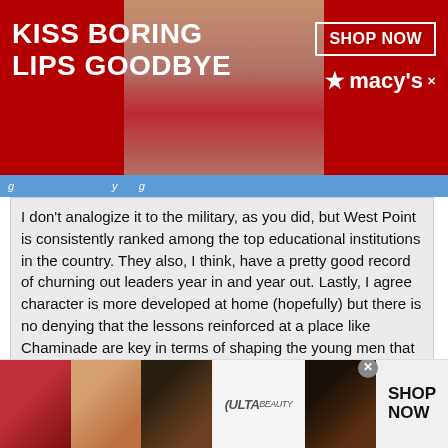[Figure (photo): Top advertisement banner with red background showing a woman's face with red lipstick, text 'KISS BORING LIPS GOODBYE', 'SHOP NOW' button, and Macy's logo]
I don't analogize it to the military, as you did, but West Point is consistently ranked among the top educational institutions in the country. They also, I think, have a pretty good record of churning out leaders year in and year out. Lastly, I agree character is more developed at home (hopefully) but there is no denying that the lessons reinforced at a place like Chaminade are key in terms of shaping the young men that go there. That is why I said the overall "product", in my opinion, is second to none on LI.
We appreciate your view.
Originally Posted by Anonymous
Others can disageee, and that is fine, but what I realy was responding to was the "save your money" nonnsense.
[Figure (photo): Bottom advertisement banner with beauty/makeup images and Ulta logo, with SHOP NOW button]